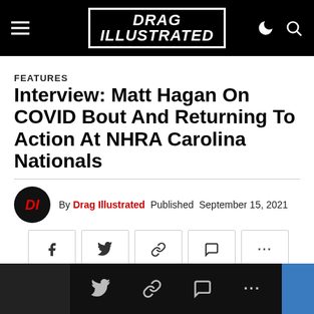Drag Illustrated
FEATURES
Interview: Matt Hagan On COVID Bout And Returning To Action At NHRA Carolina Nationals
By Drag Illustrated  Published  September 15, 2021